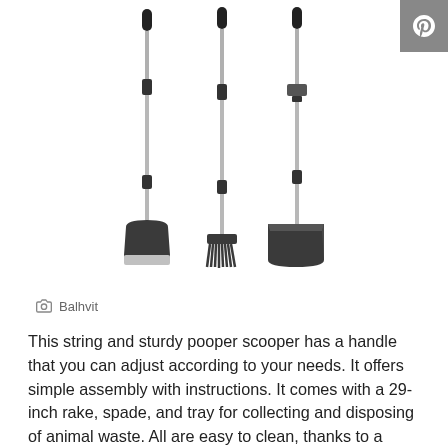[Figure (photo): Three long-handled pet waste cleaning tools: a spade/scoop (left), a rake (center), and a tray/dustpan (right), all with extendable metal handles and black grips, against a white background.]
Balhvit
This string and sturdy pooper scooper has a handle that you can adjust according to your needs. It offers simple assembly with instructions. It comes with a 29-inch rake, spade, and tray for collecting and disposing of animal waste. All are easy to clean, thanks to a nonstick coating, and the detachable handle makes it easy to store away.